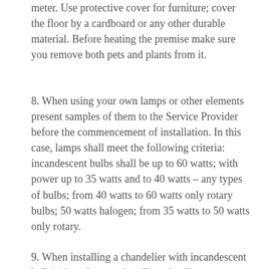meter. Use protective cover for furniture; cover the floor by a cardboard or any other durable material. Before heating the premise make sure you remove both pets and plants from it.
8. When using your own lamps or other elements present samples of them to the Service Provider before the commencement of installation. In this case, lamps shall meet the following criteria: incandescent bulbs shall be up to 60 watts; with power up to 35 watts and to 40 watts – any types of bulbs; from 40 watts to 60 watts only rotary bulbs; 50 watts halogen; from 35 watts to 50 watts only rotary.
9. When installing a chandelier with incandescent bulb(s) into the stretch ceiling, the distance